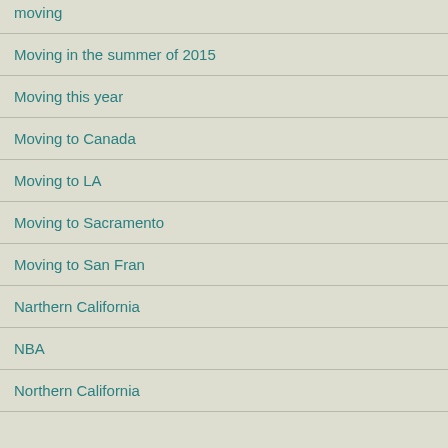moving
Moving in the summer of 2015
Moving this year
Moving to Canada
Moving to LA
Moving to Sacramento
Moving to San Fran
Narthern California
NBA
Northern California